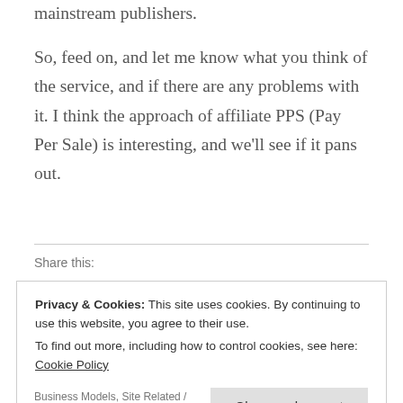mainstream publishers.
So, feed on, and let me know what you think of the service, and if there are any problems with it. I think the approach of affiliate PPS (Pay Per Sale) is interesting, and we’ll see if it pans out.
Share this:
Privacy & Cookies: This site uses cookies. By continuing to use this website, you agree to their use.
To find out more, including how to control cookies, see here: Cookie Policy
Close and accept
Business Models, Site Related /